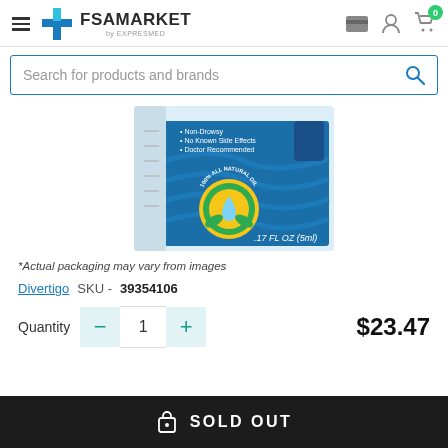FSA MARKET by EXPRESMED
Search for products and brands
[Figure (photo): Product box for Divertigo, .17 FL OZ (5ml), with 100% All Natural Oil seal, showing bullet points: Non-Drowsy, No Known Side Effects, Doctor Recommended]
*Actual packaging may vary from images
Divertigo  SKU - 39354106
Quantity  1  $23.47
SOLD OUT